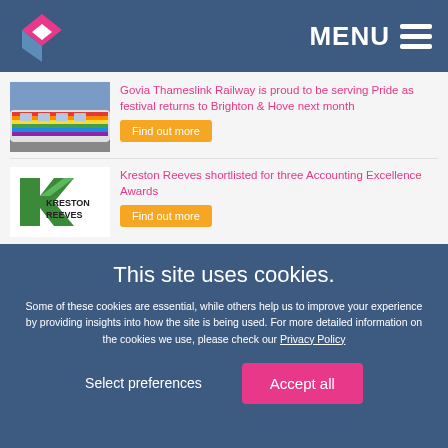MENU
[Figure (photo): Rainbow-decorated train at a station platform]
Govia Thameslink Railway is proud to be serving Pride as festival returns to Brighton & Hove next month
Find out more
[Figure (logo): Kreston Reeves logo - green and white K arrow shape with KRESTON REEVES text]
Kreston Reeves shortlisted for three Accounting Excellence Awards
Find out more
This site uses cookies.
Some of these cookies are essential, while others help us to improve your experience by providing insights into how the site is being used. For more detailed information on the cookies we use, please check our Privacy Policy
Select preferences
Accept all